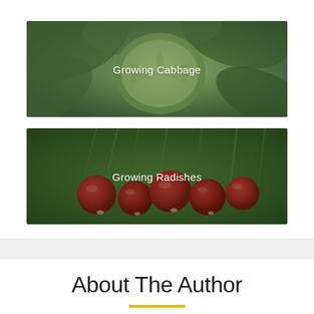[Figure (photo): Close-up photo of a cabbage head with green leaves, overlaid with text 'Growing Cabbage']
[Figure (photo): Photo of red radishes with green stems and leaves, overlaid with text 'Growing Radishes']
About The Author